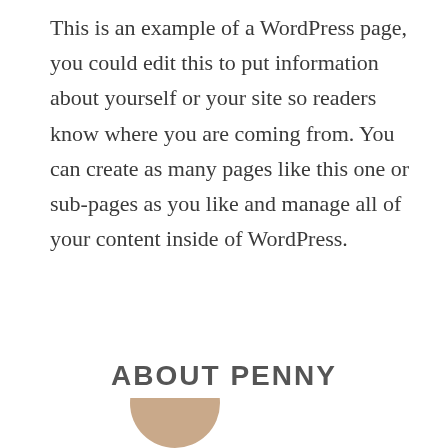This is an example of a WordPress page, you could edit this to put information about yourself or your site so readers know where you are coming from. You can create as many pages like this one or sub-pages as you like and manage all of your content inside of WordPress.
ABOUT PENNY
[Figure (photo): Partial view of a person's photo, cropped at bottom of page]